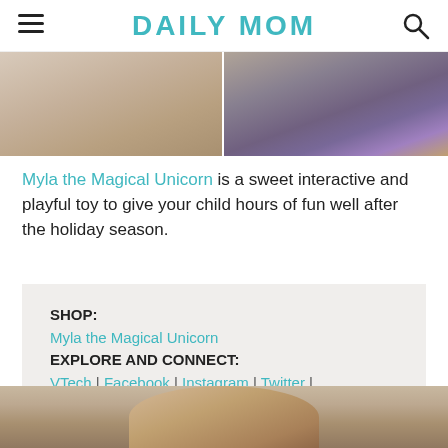DAILY MOM
[Figure (photo): Two cropped photos at top: left shows a child with a toy, right shows colorful unicorn toy]
Myla the Magical Unicorn is a sweet interactive and playful toy to give your child hours of fun well after the holiday season.
SHOP: Myla the Magical Unicorn EXPLORE AND CONNECT: VTech | Facebook | Instagram | Twitter | YouTube | Pinterest
[Figure (photo): Bottom photo showing top of a child's head with brown hair, sitting on the floor]